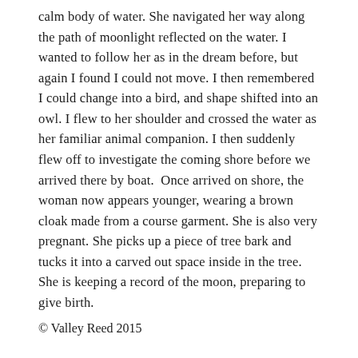calm body of water. She navigated her way along the path of moonlight reflected on the water. I wanted to follow her as in the dream before, but again I found I could not move. I then remembered I could change into a bird, and shape shifted into an owl. I flew to her shoulder and crossed the water as her familiar animal companion. I then suddenly flew off to investigate the coming shore before we arrived there by boat. Once arrived on shore, the woman now appears younger, wearing a brown cloak made from a course garment. She is also very pregnant. She picks up a piece of tree bark and tucks it into a carved out space inside in the tree. She is keeping a record of the moon, preparing to give birth.
© Valley Reed 2015